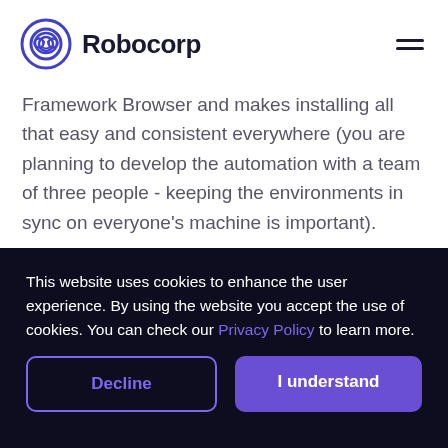Robocorp
Framework Browser and makes installing all that easy and consistent everywhere (you are planning to develop the automation with a team of three people - keeping the environments in sync on everyone's machine is important).
This website uses cookies to enhance the user experience. By using the website you accept the use of cookies. You can check our Privacy Policy to learn more.
Decline
I understand